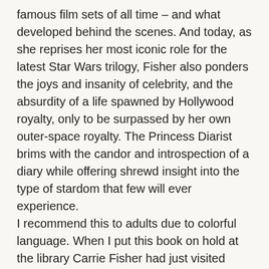famous film sets of all time – and what developed behind the scenes. And today, as she reprises her most iconic role for the latest Star Wars trilogy, Fisher also ponders the joys and insanity of celebrity, and the absurdity of a life spawned by Hollywood royalty, only to be surpassed by her own outer-space royalty. The Princess Diarist brims with the candor and introspection of a diary while offering shrewd insight into the type of stardom that few will ever experience.
I recommend this to adults due to colorful language. When I put this book on hold at the library Carrie Fisher had just visited Ellen on her talk show. She was her usual witty self and things seemed to be going well. She had just released this book. I had no idea when I would finally get a chance to read this book she would already be gone. It was very strange reading these as she had no idea either when she released this book what was to come. This books description talks a lot about the behind the scenes of Star Wars which I do find totally true. It was